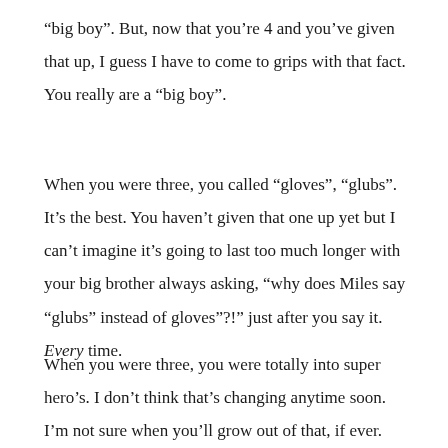“big boy”. But, now that you’re 4 and you’ve given that up, I guess I have to come to grips with that fact. You really are a “big boy”.
When you were three, you called “gloves”, “glubs”. It’s the best. You haven’t given that one up yet but I can’t imagine it’s going to last too much longer with your big brother always asking, “why does Miles say “glubs” instead of gloves”?!” just after you say it. Every time.
When you were three, you were totally into super hero’s. I don’t think that’s changing anytime soon. I’m not sure when you’ll grow out of that, if ever. You love to